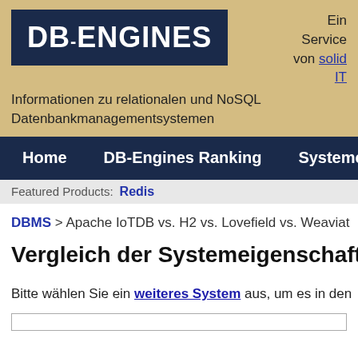[Figure (logo): DB-ENGINES logo: white bold text on dark navy blue background]
Ein Service von solid IT
Informationen zu relationalen und NoSQL Datenbankmanagementsystemen
Home   DB-Engines Ranking   Systeme
Featured Products:   Redis
DBMS > Apache IoTDB vs. H2 vs. Lovefield vs. Weaviat
Vergleich der Systemeigenschaften Ap
Bitte wählen Sie ein weiteres System aus, um es in den